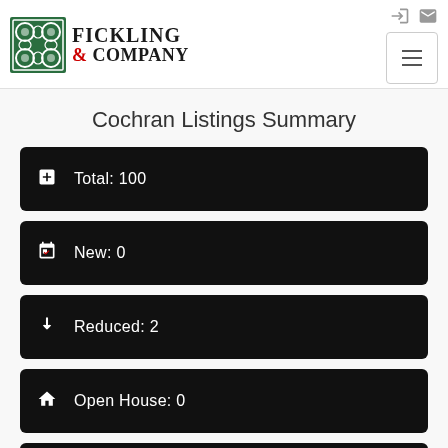Fickling & Company
Cochran Listings Summary
Total: 100
New: 0
Reduced: 2
Open House: 0